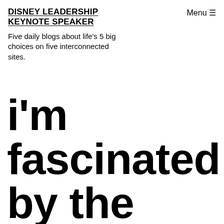DISNEY LEADERSHIP KEYNOTE SPEAKER
Five daily blogs about life's 5 big choices on five interconnected sites.
i'm fascinated by the mental results of